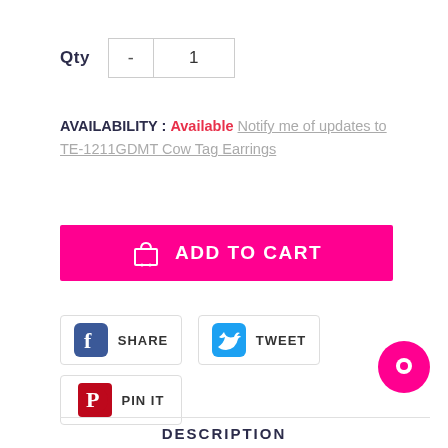Qty - 1
AVAILABILITY : Available  Notify me of updates to TE-1211GDMT Cow Tag Earrings
ADD TO CART
[Figure (screenshot): Facebook Share button with Facebook logo icon and SHARE text]
[Figure (screenshot): Twitter Tweet button with Twitter bird icon and TWEET text]
[Figure (screenshot): Pinterest Pin It button with Pinterest logo icon and PIN IT text]
[Figure (other): Pink circular chat bubble button in bottom right corner]
DESCRIPTION